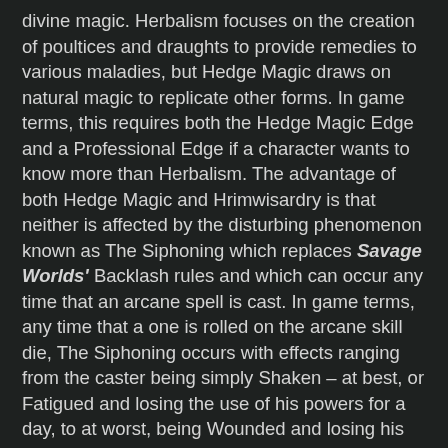divine magic. Herbalism focuses on the creation of poultices and draughts to provide remedies to various maladies, but Hedge Magic draws on natural magic to replicate other forms. In game terms, this requires both the Hedge Magic Edge and a Professional Edge if a character wants to know more than Herbalism. The advantage of both Hedge Magic and Hrimwisardry is that neither is affected by the disturbing phenomenon known as The Siphoning which replaces Savage Worlds' Backlash rules and which can occur any time that an arcane spell is cast. In game terms, any time that a one is rolled on the arcane skill die, The Siphoning occurs with effects ranging from the caster being simply Shaken – at best, or Fatigued and losing the use of his powers for a day, to at worst, being Wounded and losing his powers for days or even permanently losing part of his magical ability. The latter is represented by a reduction in type of die he rolls for his arcane skill. The effect of The Siphoning is to make casting spells anything other than an easy choice, even though all arcanists are free to cast as many spells as they would want. In game terms, the casting of spells in Hellfrost does not use the Power Points usually found in other Savage Worlds fantasy settings.